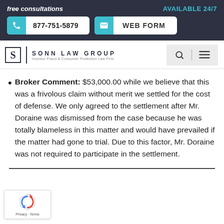free consultations | AVAILABLE 24/7 | 877-751-5879 | WEB FORM
[Figure (logo): Sonn Law Group logo — Investor Fraud & Consumer Protection Law Firm]
Broker Comment: $53,000.00 while we believe that this was a frivolous claim without merit we settled for the cost of defense. We only agreed to the settlement after Mr. Doraine was dismissed from the case because he was totally blameless in this matter and would have prevailed if the matter had gone to trial. Due to this factor, Mr. Doraine was not required to participate in the settlement.